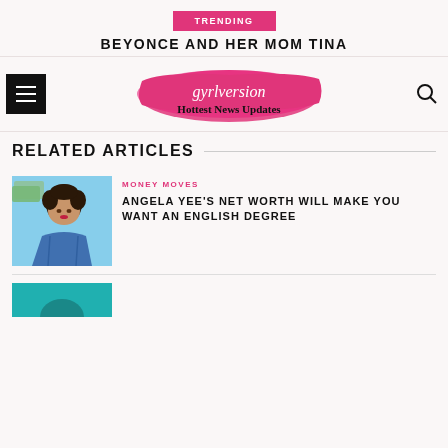TRENDING
BEYONCE AND HER MOM TINA
[Figure (logo): gyrlversion Hottest News Updates logo with pink brushstroke background]
RELATED ARTICLES
[Figure (photo): Woman with dark curly hair holding money bills near her head, wearing a denim jacket]
MONEY MOVES
ANGELA YEE'S NET WORTH WILL MAKE YOU WANT AN ENGLISH DEGREE
[Figure (photo): Partial view of a second article thumbnail with teal/turquoise background]